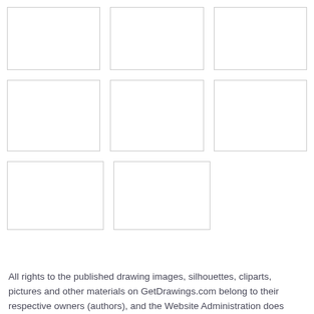[Figure (illustration): Grid of 8 empty white boxes with light gray borders arranged in 3 rows: 3 boxes in row 1, 3 boxes in row 2, 2 boxes in row 3]
All rights to the published drawing images, silhouettes, cliparts, pictures and other materials on GetDrawings.com belong to their respective owners (authors), and the Website Administration does